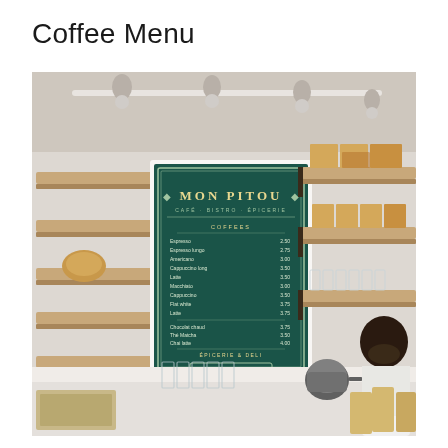Coffee Menu
[Figure (photo): Interior photograph of Mon Pitou coffee shop showing wooden wall shelves on the left, a framed dark green menu board in the center reading 'MON PITOU' with coffee menu items, more wooden shelves with glasses and cardboard boxes on the right, and a barista working at the counter on the far right. Track lighting runs along the ceiling. Various glassware and coffee equipment on the counter below.]